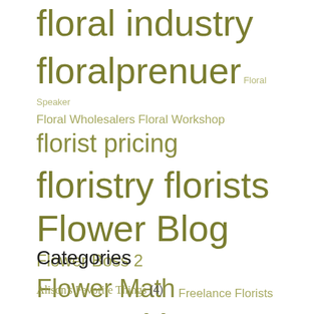[Figure (infographic): Tag cloud with floristry and flower business related terms in varying sizes representing frequency/importance. Terms include: floral industry, floralprenuer, Floral Speaker, Floral Wholesalers, Floral Workshop, florist pricing, floristry, florists, Flower Blog, Flower Boss 2, Flower Math, Freelance Florists, Giving Back, gratitude, Home-Based Florists, Ideal Customers, Marketing, Mornings With Mayesh, real flower business, Recipes, Testimonials, The Art Of Good Business, The Flower Podcast, websites, wedding florist, wedding proposals, Wedding Workflow]
Categories
Alison's Favorite Things (4)